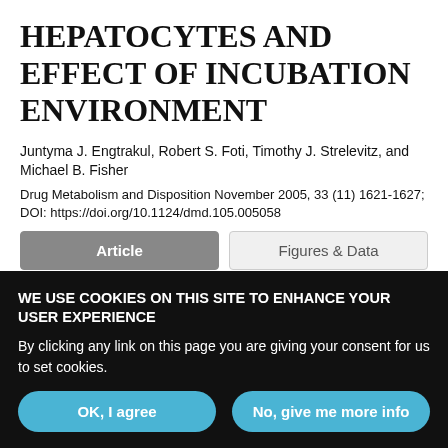HEPATOCYTES AND EFFECT OF INCUBATION ENVIRONMENT
Juntyma J. Engtrakul, Robert S. Foti, Timothy J. Strelevitz, and Michael B. Fisher
Drug Metabolism and Disposition November 2005, 33 (11) 1621-1627; DOI: https://doi.org/10.1124/dmd.105.005058
Article | Figures & Data | Info & Metrics | eLetters
WE USE COOKIES ON THIS SITE TO ENHANCE YOUR USER EXPERIENCE
By clicking any link on this page you are giving your consent for us to set cookies.
OK, I agree | No, give me more info